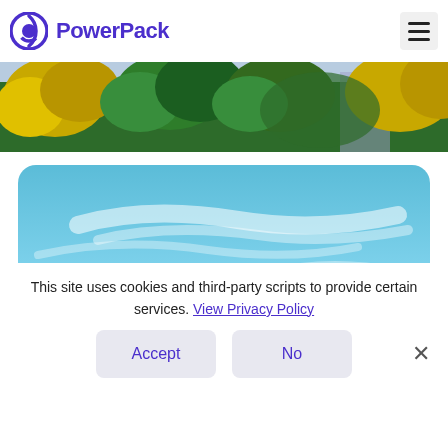PowerPack
[Figure (photo): Aerial view of tropical trees including yellow and green palm trees and other tropical foliage, partially cropped at the top of the page]
[Figure (photo): Blue sky with wispy white clouds, displayed in a rounded-corner card]
This site uses cookies and third-party scripts to provide certain services. View Privacy Policy
Accept
No